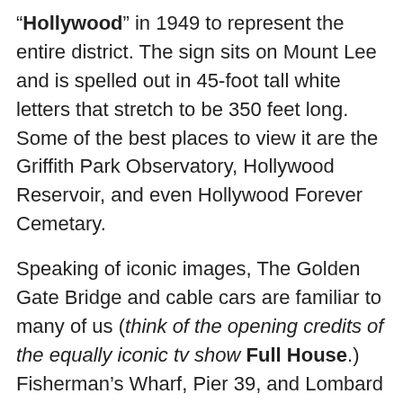“Hollywood” in 1949 to represent the entire district. The sign sits on Mount Lee and is spelled out in 45-foot tall white letters that stretch to be 350 feet long. Some of the best places to view it are the Griffith Park Observatory, Hollywood Reservoir, and even Hollywood Forever Cemetary.
Speaking of iconic images, The Golden Gate Bridge and cable cars are familiar to many of us (think of the opening credits of the equally iconic tv show Full House.) Fisherman’s Wharf, Pier 39, and Lombard Street attracts thousands of visitors each year. This one city alone has tons of tourist and photo opportunities.
Colorado